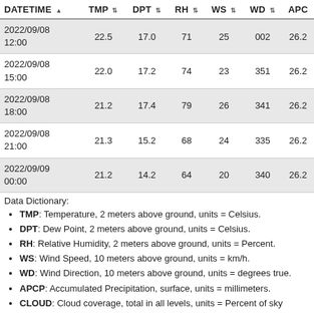| DATETIME | TMP | DPT | RH | WS | WD | APCP |
| --- | --- | --- | --- | --- | --- | --- |
| 2022/09/08 12:00 | 22.5 | 17.0 | 71 | 25 | 002 | 26.2 |
| 2022/09/08 15:00 | 22.0 | 17.2 | 74 | 23 | 351 | 26.2 |
| 2022/09/08 18:00 | 21.2 | 17.4 | 79 | 26 | 341 | 26.2 |
| 2022/09/08 21:00 | 21.3 | 15.2 | 68 | 24 | 335 | 26.2 |
| 2022/09/09 00:00 | 21.2 | 14.2 | 64 | 20 | 340 | 26.2 |
Data Dictionary:
TMP: Temperature, 2 meters above ground, units = Celsius.
DPT: Dew Point, 2 meters above ground, units = Celsius.
RH: Relative Humidity, 2 meters above ground, units = Percent.
WS: Wind Speed, 10 meters above ground, units = km/h.
WD: Wind Direction, 10 meters above ground, units = degrees true.
APCP: Accumulated Precipitation, surface, units = millimeters.
CLOUD: Cloud coverage, total in all levels, units = Percent of sky covered.